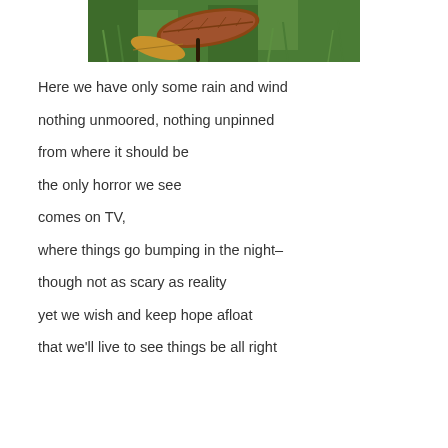[Figure (photo): Close-up photograph of grass and dead/dry brown leaves on the ground]
Here we have only some rain and wind

nothing unmoored, nothing unpinned

from where it should be

the only horror we see

comes on TV,

where things go bumping in the night–

though not as scary as reality

yet we wish and keep hope afloat

that we'll live to see things be all right